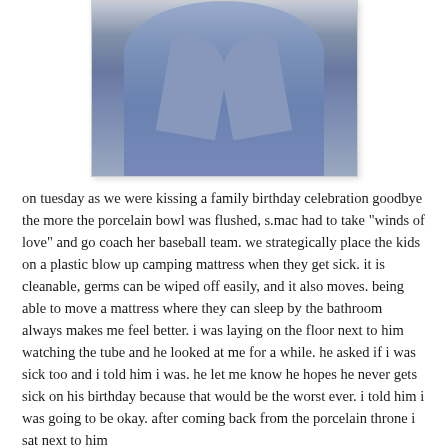[Figure (photo): Photo of a person wearing a blue shirt, cropped to show torso and lower face/neck area]
on tuesday as we were kissing a family birthday celebration goodbye the more the porcelain bowl was flushed, s.mac had to take "winds of love" and go coach her baseball team. we strategically place the kids on a plastic blow up camping mattress when they get sick. it is cleanable, germs can be wiped off easily, and it also moves. being able to move a mattress where they can sleep by the bathroom always makes me feel better. i was laying on the floor next to him watching the tube and he looked at me for a while. he asked if i was sick too and i told him i was. he let me know he hopes he never gets sick on his birthday because that would be the worst ever. i told him i was going to be okay. after coming back from the porcelain throne i sat next to him